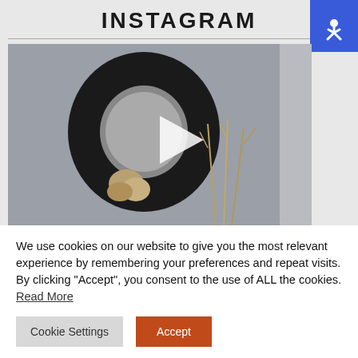INSTAGRAM
[Figure (screenshot): A dark circular ring (wreath-like sculpture) mounted on a white wall, with dried grasses in the background. A video play button (white triangle) overlays the center of the image.]
We use cookies on our website to give you the most relevant experience by remembering your preferences and repeat visits. By clicking “Accept”, you consent to the use of ALL the cookies. Read More
Cookie Settings
Accept